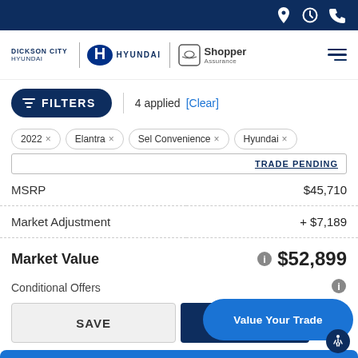Dickson City Hyundai | Shopper Assurance
FILTERS | 4 applied [Clear]
2022 ×
Elantra ×
Sel Convenience ×
Hyundai ×
TRADE PENDING
| Item | Value |
| --- | --- |
| MSRP | $45,710 |
| Market Adjustment | + $7,189 |
| Market Value | $52,899 |
| Conditional Offers |  |
SAVE
GET
Value Your Trade